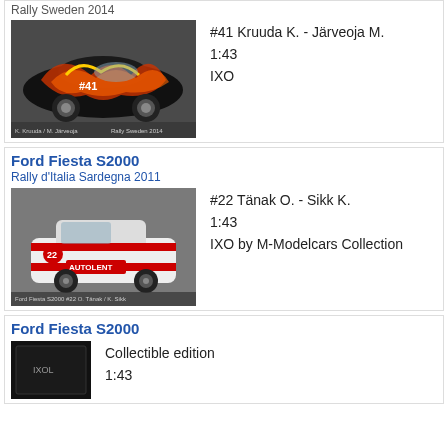Rally Sweden 2014
[Figure (photo): Diecast model car Ford Fiesta S2000 #41 with colorful graphic livery, Rally Sweden 2014]
#41 Kruuda K. - Järveoja M.
1:43
IXO
Ford Fiesta S2000
Rally d'Italia Sardegna 2011
[Figure (photo): Diecast model car Ford Fiesta S2000 #22 white with red stripes, Autolent livery]
#22 Tänak O. - Sikk K.
1:43
IXO by M-Modelcars Collection
Ford Fiesta S2000
[Figure (photo): Diecast model car Ford Fiesta S2000 collectible edition in dark box]
Collectible edition
1:43